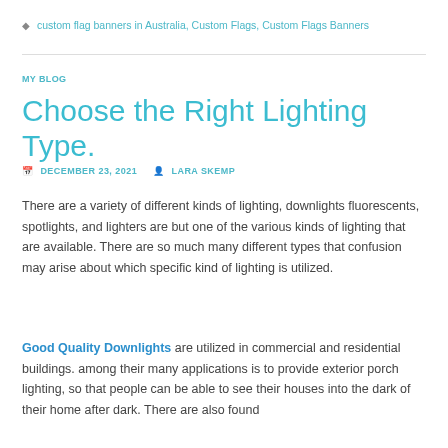custom flag banners in Australia, Custom Flags, Custom Flags Banners
MY BLOG
Choose the Right Lighting Type.
DECEMBER 23, 2021  LARA SKEMP
There are a variety of different kinds of lighting, downlights fluorescents, spotlights, and lighters are but one of the various kinds of lighting that are available. There are so much many different types that confusion may arise about which specific kind of lighting is utilized.
Good Quality Downlights are utilized in commercial and residential buildings. among their many applications is to provide exterior porch lighting, so that people can be able to see their houses into the dark of their home after dark. There are also found...